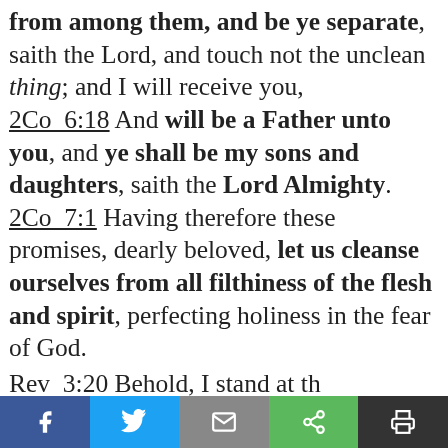from among them, and be ye separate, saith the Lord, and touch not the unclean thing; and I will receive you, 2Co 6:18 And will be a Father unto you, and ye shall be my sons and daughters, saith the Lord Almighty. 2Co 7:1 Having therefore these promises, dearly beloved, let us cleanse ourselves from all filthiness of the flesh and spirit, perfecting holiness in the fear of God.
Rev 3:20 Behold, I stand at the...